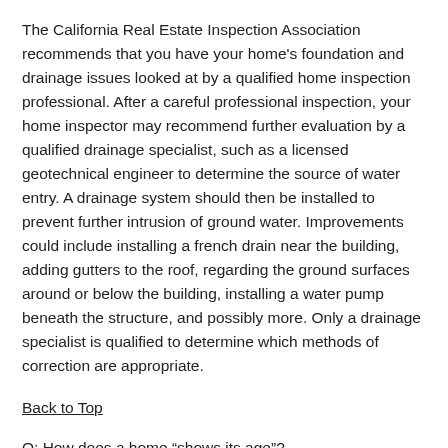The California Real Estate Inspection Association recommends that you have your home's foundation and drainage issues looked at by a qualified home inspection professional. After a careful professional inspection, your home inspector may recommend further evaluation by a qualified drainage specialist, such as a licensed geotechnical engineer to determine the source of water entry. A drainage system should then be installed to prevent further intrusion of ground water. Improvements could include installing a french drain near the building, adding gutters to the roof, regarding the ground surfaces around or below the building, installing a water pump beneath the structure, and possibly more. Only a drainage specialist is qualified to determine which methods of correction are appropriate.
Back to Top
Q: How does a home “shows its age”?
New Home. With the purchase of a new home, expecting a